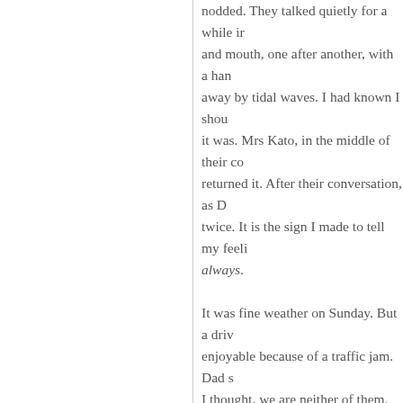nodded. They talked quietly for a while in and mouth, one after another, with a han away by tidal waves. I had known I shou it was. Mrs Kato, in the middle of their co returned it. After their conversation, as D twice. It is the sign I made to tell my feeli always.
It was fine weather on Sunday. But a driv enjoyable because of a traffic jam. Dad s I thought, we are neither of them.
After I finished my second peeing on the talk bit by bit. She told how she had beer success, and all her hope was now on th forgot to buy the meat for curry. Dad had occasionally.
We arrived at Mrs Kato's house finding o